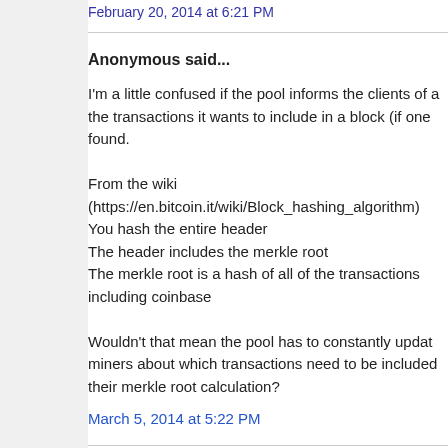February 20, 2014 at 6:21 PM
Anonymous said...
I'm a little confused if the pool informs the clients of a the transactions it wants to include in a block (if one found.

From the wiki (https://en.bitcoin.it/wiki/Block_hashing_algorithm)
You hash the entire header
The header includes the merkle root
The merkle root is a hash of all of the transactions including coinbase

Wouldn't that mean the pool has to constantly updat miners about which transactions need to be included their merkle root calculation?
March 5, 2014 at 5:22 PM
Anonymous said...